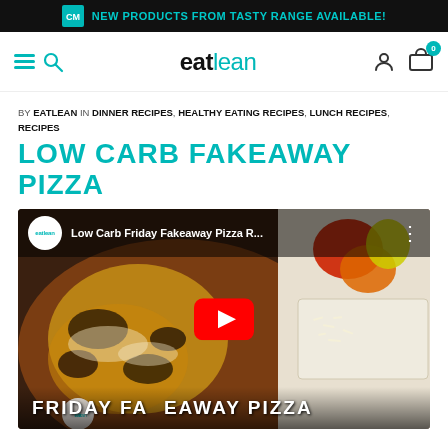NEW PRODUCTS FROM TASTY RANGE AVAILABLE!
[Figure (screenshot): Eatlean website navigation bar with hamburger menu, search icon, eatlean logo, user icon and shopping cart with badge 0]
BY EATLEAN IN DINNER RECIPES, HEALTHY EATING RECIPES, LUNCH RECIPES, RECIPES
LOW CARB FAKEAWAY PIZZA
[Figure (screenshot): YouTube video thumbnail showing a pizza with toppings and vegetables. Eatlean channel icon and title 'Low Carb Friday Fakeaway Pizza R...' in top bar. Large red YouTube play button in center. Text 'FRIDAY FAKEAWAY PIZZA' at bottom.]